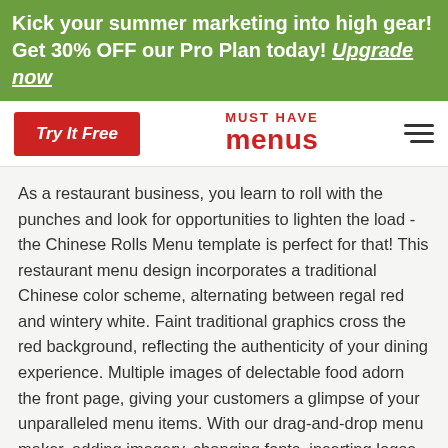Kick your summer marketing into high gear! Get 30% OFF our Pro Plan today! Upgrade now
[Figure (logo): Must Have Menus logo with red text and Try It Free button and hamburger menu icon]
As a restaurant business, you learn to roll with the punches and look for opportunities to lighten the load - the Chinese Rolls Menu template is perfect for that! This restaurant menu design incorporates a traditional Chinese color scheme, alternating between regal red and wintery white. Faint traditional graphics cross the red background, reflecting the authenticity of your dining experience. Multiple images of delectable food adorn the front page, giving your customers a glimpse of your unparalleled menu items. With our drag-and-drop menu maker, adding imagery, changing fonts, inserting logos, switching colors, and more is quick and simple. Make your edits, order prints or download the design, and thrill your customers with a brand-new menu.